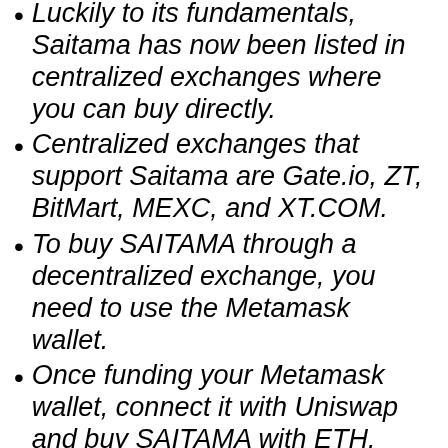Luckily to its fundamentals, Saitama has now been listed in centralized exchanges where you can buy directly.
Centralized exchanges that support Saitama are Gate.io, ZT, BitMart, MEXC, and XT.COM.
To buy SAITAMA through a decentralized exchange, you need to use the Metamask wallet.
Once funding your Metamask wallet, connect it with Uniswap and buy SAITAMA with ETH.